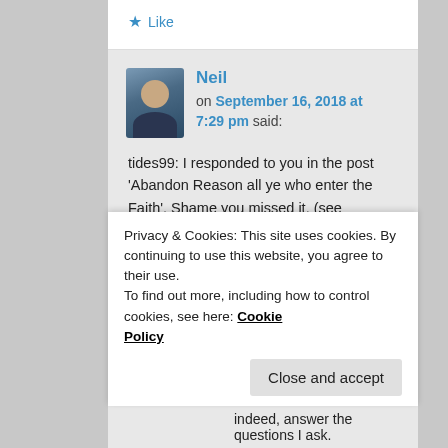Like
Neil on September 16, 2018 at 7:29 pm said:
tides99: I responded to you in the post 'Abandon Reason all ye who enter the Faith'. Shame you missed it. (see https://rejectingjesus.com/2018/06/
Privacy & Cookies: This site uses cookies. By continuing to use this website, you agree to their use.
To find out more, including how to control cookies, see here: Cookie Policy
Close and accept
indeed, answer the questions I ask.